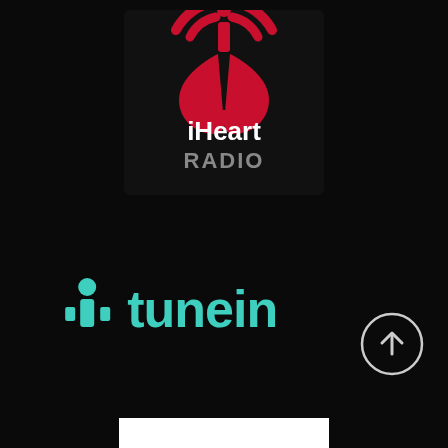[Figure (logo): iHeartRadio logo: black square background with red heart/wifi signal icon and text 'iHeart RADIO' in white and gray]
[Figure (logo): TuneIn logo: teal/turquoise colored icon of a person with signal waves and the text 'tunein' on black background]
[Figure (other): Circular scroll-up button with upward arrow, white/gray outline on black background]
[Figure (other): White rectangle partially visible at the bottom of the page]